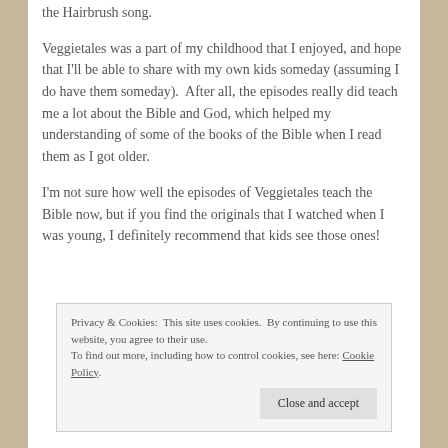the Hairbrush song.
Veggietales was a part of my childhood that I enjoyed, and hope that I'll be able to share with my own kids someday (assuming I do have them someday).  After all, the episodes really did teach me a lot about the Bible and God, which helped my understanding of some of the books of the Bible when I read them as I got older.
I'm not sure how well the episodes of Veggietales teach the Bible now, but if you find the originals that I watched when I was young, I definitely recommend that kids see those ones!
Privacy & Cookies: This site uses cookies.  By continuing to use this website, you agree to their use.
To find out more, including how to control cookies, see here: Cookie Policy
Close and accept